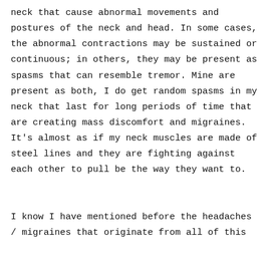neck that cause abnormal movements and postures of the neck and head. In some cases, the abnormal contractions may be sustained or continuous; in others, they may be present as spasms that can resemble tremor. Mine are present as both, I do get random spasms in my neck that last for long periods of time that are creating mass discomfort and migraines. It's almost as if my neck muscles are made of steel lines and they are fighting against each other to pull be the way they want to.
I know I have mentioned before the headaches / migraines that originate from all of this